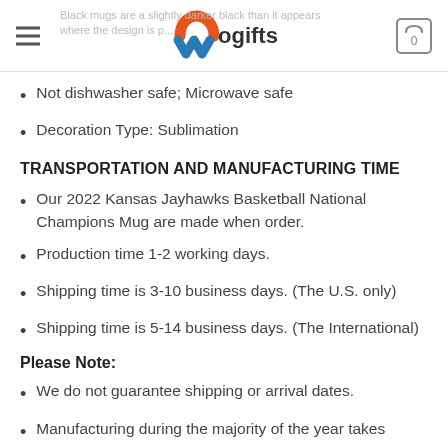wogifts
Not dishwasher safe; Microwave safe
Decoration Type: Sublimation
TRANSPORTATION AND MANUFACTURING TIME
Our 2022 Kansas Jayhawks Basketball National Champions Mug are made when order.
Production time 1-2 working days.
Shipping time is 3-10 business days. (The U.S. only)
Shipping time is 5-14 business days. (The International)
Please Note:
We do not guarantee shipping or arrival dates.
Manufacturing during the majority of the year takes